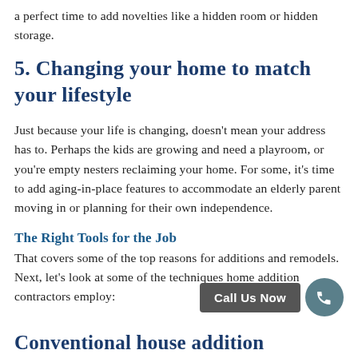a perfect time to add novelties like a hidden room or hidden storage.
5. Changing your home to match your lifestyle
Just because your life is changing, doesn't mean your address has to. Perhaps the kids are growing and need a playroom, or you're empty nesters reclaiming your home. For some, it's time to add aging-in-place features to accommodate an elderly parent moving in or planning for their own independence.
The Right Tools for the Job
That covers some of the top reasons for additions and remodels. Next, let's look at some of the techniques home addition contractors employ:
Conventional house addition